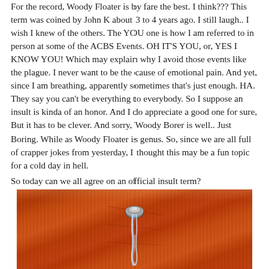For the record, Woody Floater is by fare the best. I think??? This term was coined by John K about 3 to 4 years ago. I still laugh.. I wish I knew of the others. The YOU one is how I am referred to in person at some of the ACBS Events. OH IT'S YOU, or, YES I KNOW YOU! Which may explain why I avoid those events like the plague. I never want to be the cause of emotional pain. And yet, since I am breathing, apparently sometimes that’s just enough. HA. They say you can’t be everything to everybody. So I suppose an insult is kinda of an honor. And I do appreciate a good one for sure, But it has to be clever. And sorry, Woody Borer is well.. Just Boring. While as Woody Floater is genus. So, since we are all full of crapper jokes from yesterday, I thought this may be a fun topic for a cold day in hell.
So today can we all agree on an official insult term?
[Figure (photo): Close-up photograph of a wooden boat hull (red/orange wood grain visible) with a metal drain fitting or plug and a stream of water flowing from it]